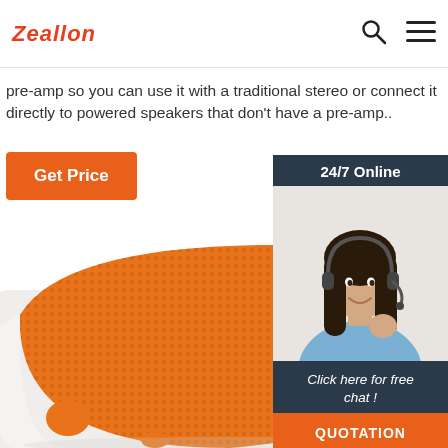Zeallon
pre-amp so you can use it with a traditional stereo or connect it directly to powered speakers that don't have a pre-amp..
[Figure (screenshot): Orange 'Get Price' button on white background]
[Figure (photo): Customer service representative with headset, 24/7 Online chat widget with 'Click here for free chat!' text and QUOTATION button]
[Figure (photo): Orange and white square Bluetooth speaker, close-up view from above showing mesh grille texture and orange accent dots on white body]